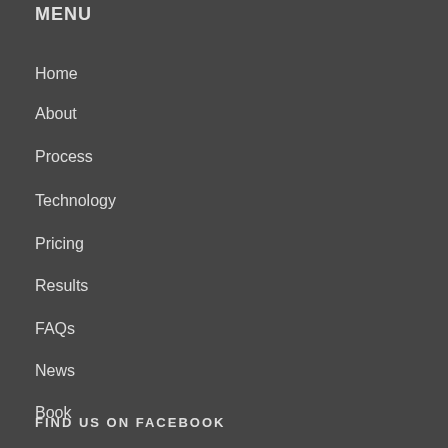MENU
Home
About
Process
Technology
Pricing
Results
FAQs
News
Book
FIND US ON FACEBOOK